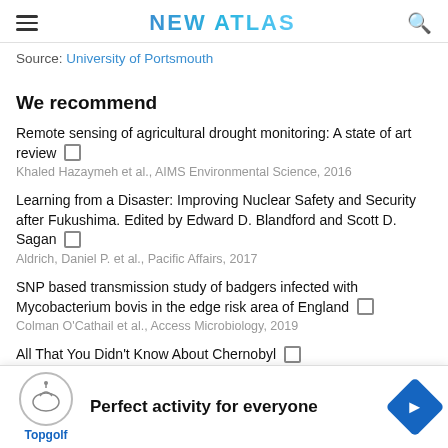NEW ATLAS
Source: University of Portsmouth
We recommend
Remote sensing of agricultural drought monitoring: A state of art review
Khaled Hazaymeh et al., AIMS Environmental Science, 2016
Learning from a Disaster: Improving Nuclear Safety and Security after Fukushima. Edited by Edward D. Blandford and Scott D. Sagan
Aldrich, Daniel P. et al., Pacific Affairs, 2017
SNP based transmission study of badgers infected with Mycobacterium bovis in the edge risk area of England
Colman O'Cathail et al., Access Microbiology, 2019
All That You Didn't Know About Chernobyl
By Enago Academy et al., Enago Academy, 2019
Bosutin... hronic myeloic... dorf et al.)
[Figure (other): Topgolf advertisement overlay: 'Perfect activity for everyone' with Topgolf logo and navigation diamond icon]